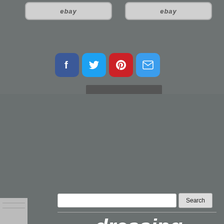[Figure (screenshot): Two eBay buttons side by side on a grey background]
[Figure (infographic): Social share buttons: Facebook (blue), Twitter (light blue), Pinterest (red), Email (blue)]
[Figure (infographic): Word cloud on grey background with furniture/mirror related keywords including: dressing, venetian, furniture, light, make, vintage, hall, diamond, silver, table, antique, mirror, drawers, wall, mirrors, vanity, bedroom, white, dresser, hollywood, console, stool, black]